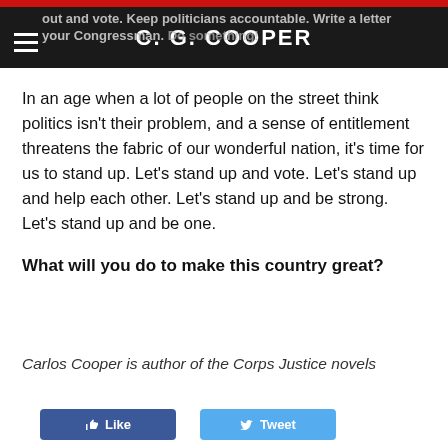out and vote. Keep politicians accountable. Write a letter your Congressman. Do something! C. G. COOPER
In an age when a lot of people on the street think politics isn't their problem, and a sense of entitlement threatens the fabric of our wonderful nation, it's time for us to stand up. Let's stand up and vote. Let's stand up and help each other. Let's stand up and be strong. Let's stand up and be one.
What will you do to make this country great?
Carlos Cooper is author of the Corps Justice novels